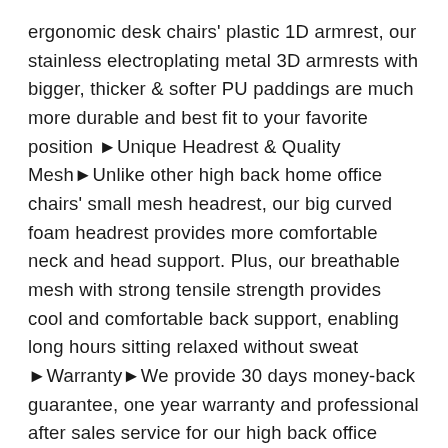ergonomic desk chairs' plastic 1D armrest, our stainless electroplating metal 3D armrests with bigger, thicker & softer PU paddings are much more durable and best fit to your favorite position ►Unique Headrest & Quality Mesh►Unlike other high back home office chairs' small mesh headrest, our big curved foam headrest provides more comfortable neck and head support. Plus, our breathable mesh with strong tensile strength provides cool and comfortable back support, enabling long hours sitting relaxed without sweat ►Warranty►We provide 30 days money-back guarantee, one year warranty and professional after sales service for our high back office chair. If there is any quality problem, please contact us and we will provide you a 100% satisfied solution. This easy assembly ergonomic computer chair has